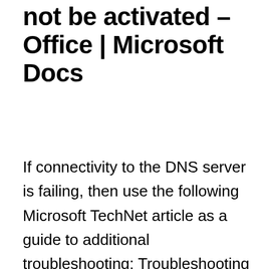not be activated – Office | Microsoft Docs
If connectivity to the DNS server is failing, then use the following Microsoft TechNet article as a guide to additional troubleshooting: Troubleshooting TCP/IP ProblemsAfter you resolve the connectivity issues to the DNS server, have the users try